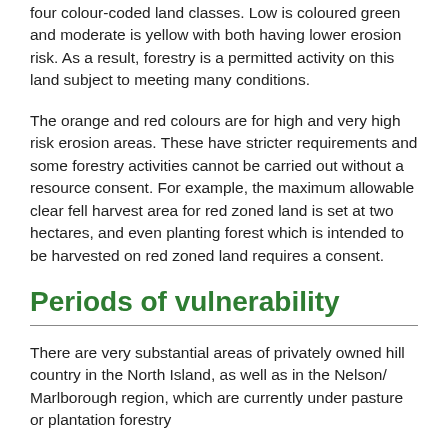four colour-coded land classes. Low is coloured green and moderate is yellow with both having lower erosion risk. As a result, forestry is a permitted activity on this land subject to meeting many conditions.
The orange and red colours are for high and very high risk erosion areas. These have stricter requirements and some forestry activities cannot be carried out without a resource consent. For example, the maximum allowable clear fell harvest area for red zoned land is set at two hectares, and even planting forest which is intended to be harvested on red zoned land requires a consent.
Periods of vulnerability
There are very substantial areas of privately owned hill country in the North Island, as well as in the Nelson/ Marlborough region, which are currently under pasture or plantation forestry